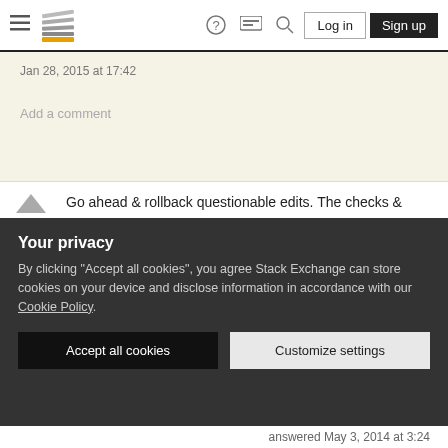Stack Exchange navigation bar with hamburger menu, logo, help, chat, search icons, Log in and Sign up buttons
Jan 28, 2015 at 17:42
Add a comment
Go ahead & rollback questionable edits. The checks & balances clearly include the option for someone else to roll things back AFTER edits are approved. It's not a statement of who is good, bad or otherwise but a statement that we are all human & the process of approving edits can be mechanical at best. So if you are not caught in that cycle, see something arise, don't feel like you are playing politics. Just do
Your privacy
By clicking "Accept all cookies", you agree Stack Exchange can store cookies on your device and disclose information in accordance with our Cookie Policy.
Accept all cookies
Customize settings
answered May 3, 2014 at 3:24